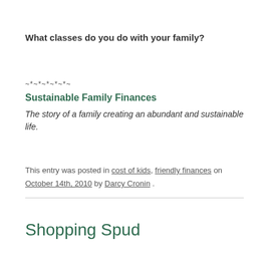What classes do you do with your family?
~*~*~*~*~*~
Sustainable Family Finances
The story of a family creating an abundant and sustainable life.
This entry was posted in cost of kids, friendly finances on October 14th, 2010 by Darcy Cronin .
Shopping Spud